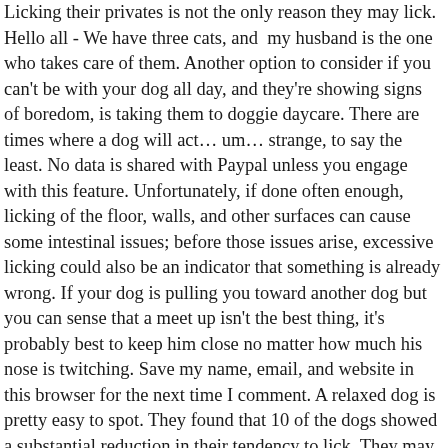Licking their privates is not the only reason they may lick. Hello all - We have three cats, and my husband is the one who takes care of them. Another option to consider if you can't be with your dog all day, and they're showing signs of boredom, is taking them to doggie daycare. There are times where a dog will act… um… strange, to say the least. No data is shared with Paypal unless you engage with this feature. Unfortunately, if done often enough, licking of the floor, walls, and other surfaces can cause some intestinal issues; before those issues arise, excessive licking could also be an indicator that something is already wrong. If your dog is pulling you toward another dog but you can sense that a meet up isn't the best thing, it's probably best to keep him close no matter how much his nose is twitching. Save my name, email, and website in this browser for the next time I comment. A relaxed dog is pretty easy to spot. They found that 10 of the dogs showed a substantial reduction in their tendency to lick. They may even know if we are experiencing illness or simply are in a bad mood. They know if we are familiar or a stranger. It will almost seem like they're smiling. A dog's sense of smell can be